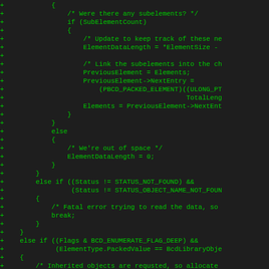[Figure (other): Diff view of C source code showing added lines (prefixed with +) in green monospace font on dark background. Code shows nested if/else logic for handling subelements, element data length, and BCD enumeration flags.]